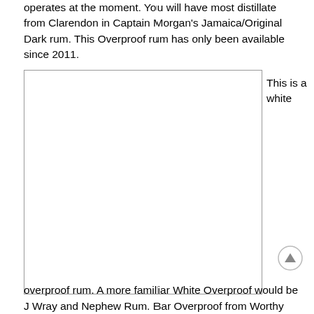operates at the moment. You will have most distillate from Clarendon in Captain Morgan's Jamaica/Original Dark rum. This Overproof rum has only been available since 2011.
[Figure (photo): A large white/blank rectangular image placeholder with a thin border]
This is a white
overproof rum. A more familiar White Overproof would be J Wray and Nephew Rum. Bar Overproof from Worthy